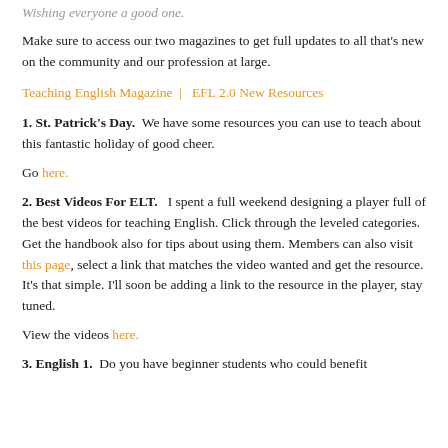Wishing everyone a good one.
Make sure to access our two magazines to get full updates to all that's new on the community and our profession at large.
Teaching English Magazine  |  EFL 2.0 New Resources
1. St. Patrick's Day.  We have some resources you can use to teach about this fantastic holiday of good cheer.
Go here.
2. Best Videos For ELT.  I spent a full weekend designing a player full of the best videos for teaching English. Click through the leveled categories. Get the handbook also for tips about using them. Members can also visit this page, select a link that matches the video wanted and get the resource. It's that simple. I'll soon be adding a link to the resource in the player, stay tuned.
View the videos here.
3. English 1.  Do you have beginner students who could benefit